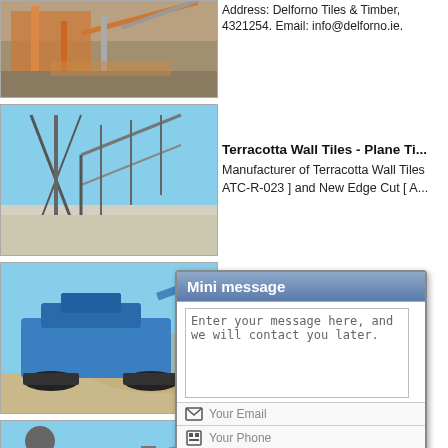Address: Delforno Tiles & Timber, 4321254. Email: info@delforno.ie.
[Figure (photo): Industrial mining equipment with orange crane and conveyor belts on a work site]
[Figure (photo): Large industrial conveyor structure and scaffolding against blue sky]
Terracotta Wall Tiles - Plane Ti...
Manufacturer of Terracotta Wall Tiles ATC-R-023 ] and New Edge Cut [ A...
[Figure (photo): Blue mobile crusher/screening machine on a quarry site]
Dutch K...
Our Dutch ... come in t... full coping ... us or requ...
[Figure (screenshot): Mini message popup dialog with textarea, email field, phone field, Email Us and Send buttons]
The wor...
Inspiration ... ke...
[Figure (photo): Industrial quarry with machinery and blue sky with clouds]